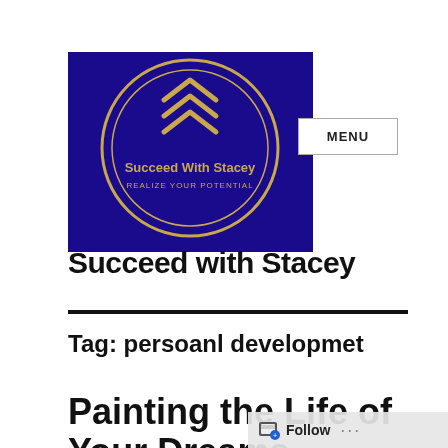[Figure (logo): Succeed With Stacey logo — purple square background with gold circular border, chevron/arrow icon in gold, text 'Succeed With Stacey' and 'REALIZE YOUR POTENTIAL' in gold]
MENU
Succeed with Stacey
Tag: persoanl developmet
Painting the Life of Your Dreams